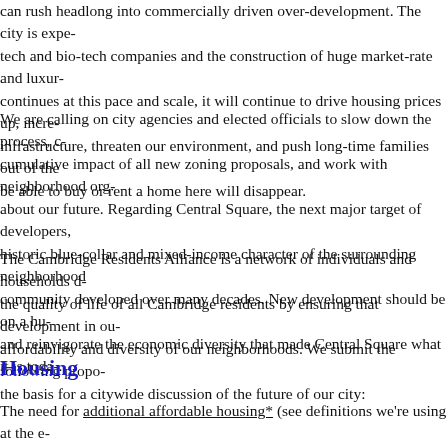can rush headlong into commercially driven over-development. The city is expe-tech and bio-tech companies and the construction of huge market-rate and luxur-continues at this pace and scale, it will continue to drive housing prices up, incre-infrastructure, threaten our environment, and push long-time families out of the be able to buy or rent a home here will disappear.
We are calling on city agencies and elected officials to slow down the process, c-cumulative impact of all new zoning proposals, and work with neighborhood org-about our future. Regarding Central Square, the next major target of developers, historic blue-collar and mixed-income character of the surrounding neighborhood community developed over many decades. New development should be on a hu-and reinvigorate the economic diversity that made Central Square what it is toda-.
The Cambridge Residents Alliance is a network of individuals and households d-the quality of life of all Cambridge residents by ensuring that development in ou-affordability and diversity of our neighborhoods. We submit the following propo-the basis for a citywide discussion of the future of our city:
Housing
The need for additional affordable housing* (see definitions we're using at the e-